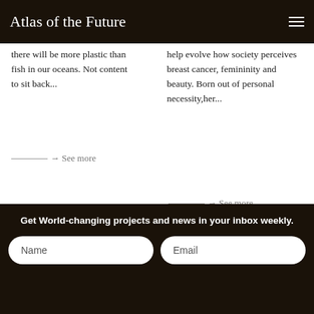Atlas of the Future
there will be more plastic than fish in our oceans. Not content to sit back...
See more
help evolve how society perceives breast cancer, femininity and beauty. Born out of personal necessity,her...
See more
Get World-changing projects and news in your inbox weekly.